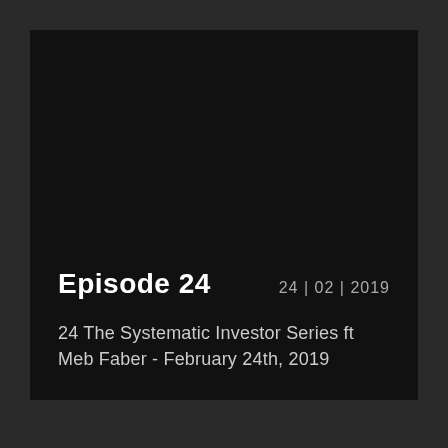Episode 24
24 | 02 | 2019
24 The Systematic Investor Series ft Meb Faber - February 24th, 2019